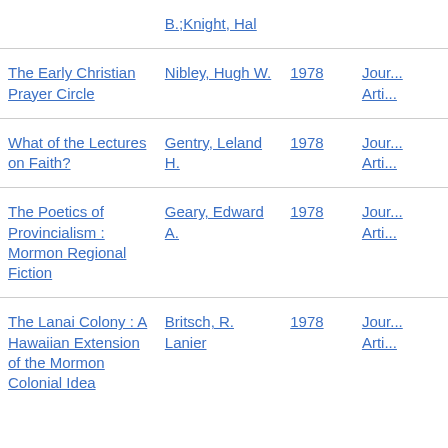| Title | Author | Year | Type |
| --- | --- | --- | --- |
| B.;Knight, Hal |  |  |  |
| The Early Christian Prayer Circle | Nibley, Hugh W. | 1978 | Jour... Arti... |
| What of the Lectures on Faith? | Gentry, Leland H. | 1978 | Jour... Arti... |
| The Poetics of Provincialism : Mormon Regional Fiction | Geary, Edward A. | 1978 | Jour... Arti... |
| The Lanai Colony : A Hawaiian Extension of the Mormon Colonial Idea | Britsch, R. Lanier | 1978 | Jour... Arti... |